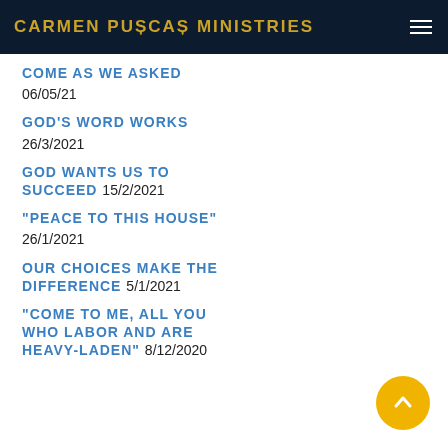CARMEN PUȘCAȘ MINISTRIES
COME AS WE ASKED
06/05/21
GOD'S WORD WORKS
26/3/2021
GOD WANTS US TO SUCCEED 15/2/2021
"PEACE TO THIS HOUSE"
26/1/2021
OUR CHOICES MAKE THE DIFFERENCE 5/1/2021
"COME TO ME, ALL YOU WHO LABOR AND ARE HEAVY-LADEN" 8/12/2020